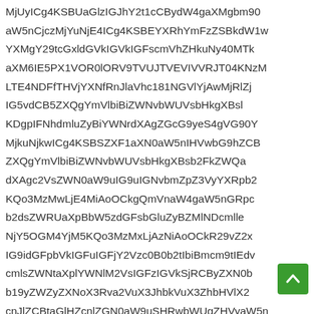MjUyICg4KSBUaGlzIGJhY2t1cCBydW4gaXMgbm90 aW5nCjczMjYuNjE4ICg4KSBEYXRhYmFzZSBkdW1w YXMgY29tcGxldGVkIGVkIGFscmVhZHkuNy40MTk aXM6IE5PX1VOR0lORV9TVUJTVEVIVVRJT04KNzM LTE4NDFfTHVjYXNfRnJlaXhRhc181NGVlYjAwMjRlZj IG5vdCB5ZXQgYmVlbiBiZWNvbWUVsbHkgXBsl KDgpIFNhdmluZyBiYWNrdXAgZGcG9yeS4gVG90Y MjkuNjkwICg4KSBSZXF1aXN0aW5nIHVwbG9hZCB ZXQgYmVlbiBiZWNvbWUVsbHkgXBsb2FkZWQa dXAgc2VsZWN0aW9uIG9uIGNvbmZpZ3VyYXRpb2 KQo3MzMwLjE4MiAoOCkgQmVnaW4gaW5nGRpc b2dsZWRUaXpBbW5zdGFsbGluZyBZMlNDcmll NjY5OGM4YjM5KQo3MzMxLjAzNiAoOCkR29vZ2x IG9idGFpbVkIGFuIGFjY2Vzc0B0b2tIbiBmcm9tIEdv cmlzZWNtaXplYWNlM2VsIGFzIGVkSjRCByZXN0b b19yZWZyZXNoX3Rva2VuX3JhbkVuX3ZhbHVlX2 cnJlZCBtaGlHZcnlZGN0aW9uSHRwbWUgZHVyaW5n
[Figure (other): Green scroll-to-top button with white upward arrow chevron icon, positioned at bottom right]